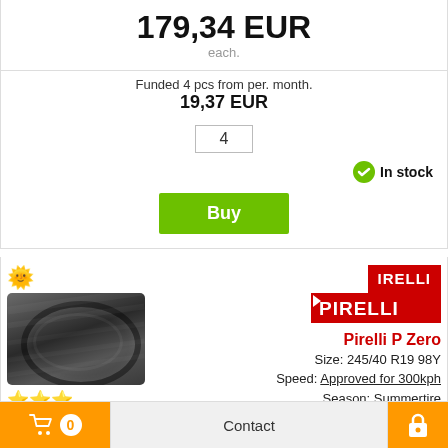179,34 EUR
each.
Funded 4 pcs from per. month.
19,37 EUR
4
In stock
Buy
[Figure (photo): Pirelli P Zero tyre with sun icon and 3-star rating, EU label showing A, B, 69dB]
Pirelli P Zero
Size: 245/40 R19 98Y
Speed: Approved for 300kph
Season: Summertire
Person wagon
Article number: 7055469733
Delivery time: 8 days
182,64 EUR
0  Contact